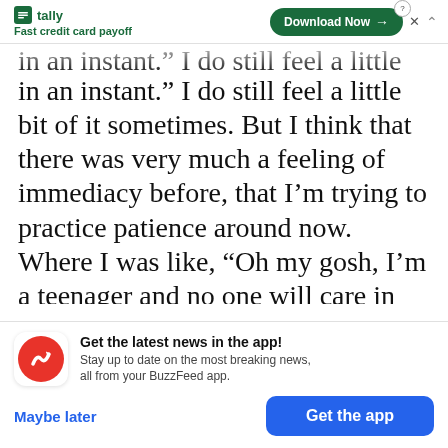[Figure (screenshot): Tally advertisement banner with logo, tagline 'Fast credit card payoff', and 'Download Now' button]
in an instant.” I do still feel a little bit of it sometimes. But I think that there was very much a feeling of immediacy before, that I’m trying to practice patience around now. Where I was like, “Oh my gosh, I’m a teenager and no one will care in six months!” While I still care about people’s opinions, I’m not constantly in that state of panic, which is really nice. Maybe that’s just me growing up.
[Figure (screenshot): BuzzFeed app notification banner: 'Get the latest news in the app! Stay up to date on the most breaking news, all from your BuzzFeed app.' with 'Maybe later' and 'Get the app' buttons]